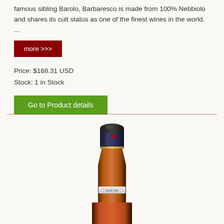famous sibling Barolo, Barbaresco is made from 100% Nebbiolo and shares its cult status as one of the finest wines in the world. ...
more >>>
Price: $168.31 USD
Stock: 1 in Stock
Go to Product details
[Figure (photo): Close-up photo of the top portion of a wine bottle showing a dark capsule and the upper neck of the bottle against a light background.]